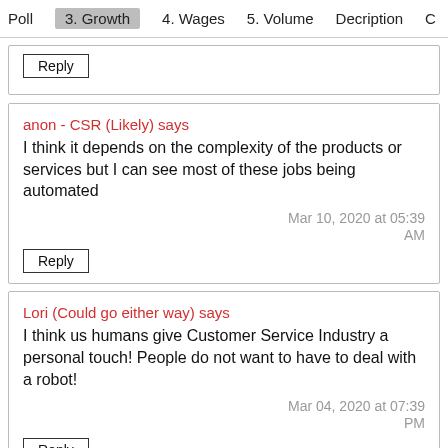Poll  3. Growth  4. Wages  5. Volume  Decription  C
[Reply button partial card]
anon - CSR (Likely) says
I think it depends on the complexity of the products or services but I can see most of these jobs being automated
Mar 10, 2020 at 05:39 AM
Lori (Could go either way) says
I think us humans give Customer Service Industry a personal touch! People do not want to have to deal with a robot!
Mar 04, 2020 at 07:39 PM